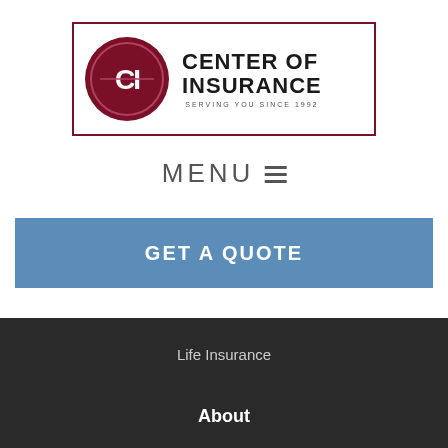[Figure (logo): Center of Insurance logo with dark red circular emblem containing letters CI and text CENTER OF INSURANCE SERVING YOU SINCE 1992 in a bordered rectangle]
MENU ≡
GET A QUOTE
Life Insurance
About